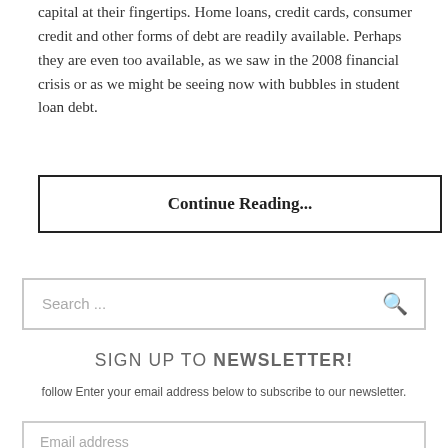capital at their fingertips. Home loans, credit cards, consumer credit and other forms of debt are readily available. Perhaps they are even too available, as we saw in the 2008 financial crisis or as we might be seeing now with bubbles in student loan debt.
Continue Reading...
Search ...
SIGN UP TO NEWSLETTER!
follow Enter your email address below to subscribe to our newsletter.
Email address